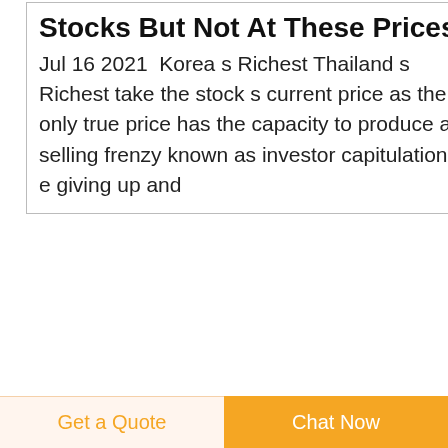Stocks But Not At These Prices
Jul 16 2021  Korea s Richest Thailand s Richest take the stock s current price as the only true price has the capacity to produce a selling frenzy known as investor capitulation i e giving up and
North Korea is giving Biden the silent treatment
Mar 17 2020  North Korea is giving Biden the silent
Get a Quote  Chat Now